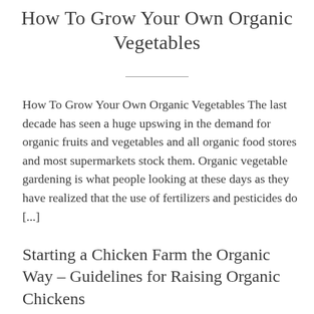How To Grow Your Own Organic Vegetables
How To Grow Your Own Organic Vegetables The last decade has seen a huge upswing in the demand for organic fruits and vegetables and all organic food stores and most supermarkets stock them. Organic vegetable gardening is what people looking at these days as they have realized that the use of fertilizers and pesticides do [...]
Starting a Chicken Farm the Organic Way – Guidelines for Raising Organic Chickens